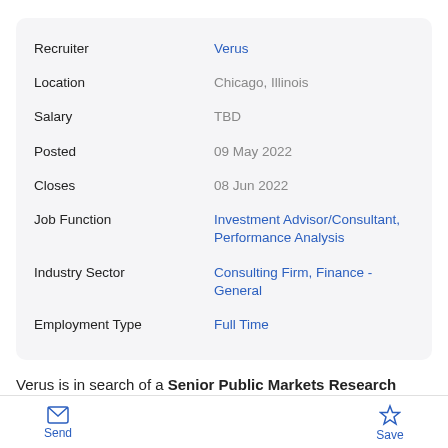| Field | Value |
| --- | --- |
| Recruiter | Verus |
| Location | Chicago, Illinois |
| Salary | TBD |
| Posted | 09 May 2022 |
| Closes | 08 Jun 2022 |
| Job Function | Investment Advisor/Consultant, Performance Analysis |
| Industry Sector | Consulting Firm, Finance - General |
| Employment Type | Full Time |
Verus is in search of a Senior Public Markets Research Analyst to join one of our offices in